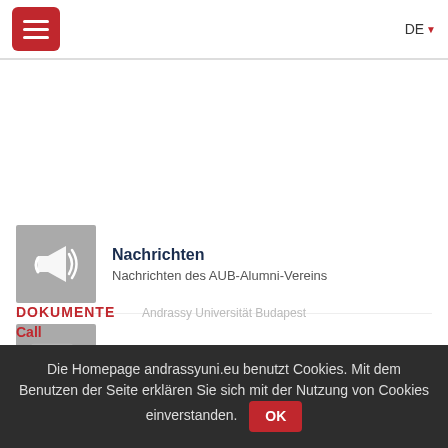≡  DE▼
[Figure (screenshot): White space area with separator line below navigation bar]
Nachrichten — Nachrichten des AUB-Alumni-Vereins
Veranstaltungen — Veranstaltungen des AUB-Alumni-Vereins
Die Homepage andrassyuni.eu benutzt Cookies. Mit dem Benutzen der Seite erklären Sie sich mit der Nutzung von Cookies einverstanden. OK